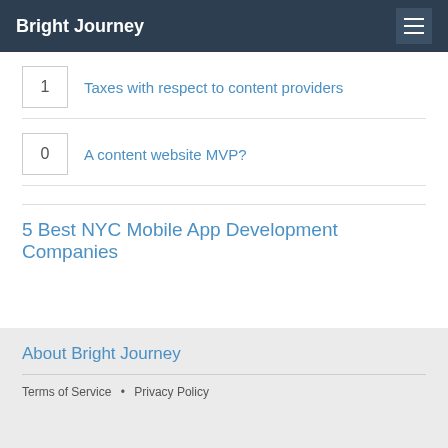Bright Journey
1  Taxes with respect to content providers
0  A content website MVP?
5 Best NYC Mobile App Development Companies
About Bright Journey
Terms of Service  •  Privacy Policy